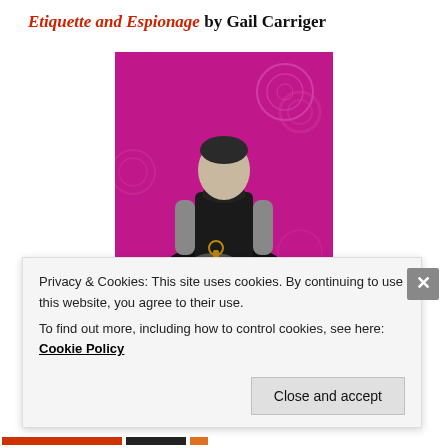Etiquette and Espionage by Gail Carriger
[Figure (photo): Book cover of 'Etiquette and Espionage' by Gail Carriger. Shows a young woman in a black Victorian-style ballgown against a pink/magenta steampunk patterned background. The title 'ETIQUETTE & ESPIONAGE' is shown in large white letters at the bottom of the cover.]
Privacy & Cookies: This site uses cookies. By continuing to use this website, you agree to their use.
To find out more, including how to control cookies, see here: Cookie Policy
Close and accept